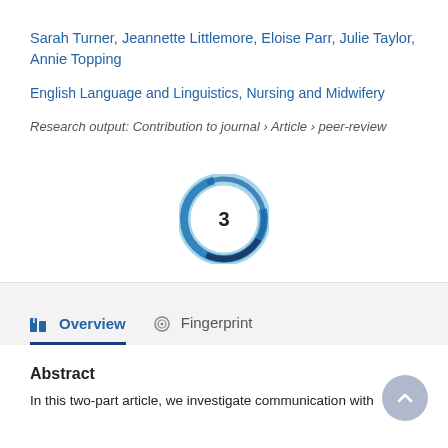Sarah Turner, Jeannette Littlemore, Eloise Parr, Julie Taylor, Annie Topping
English Language and Linguistics, Nursing and Midwifery
Research output: Contribution to journal › Article › peer-review
[Figure (donut-chart): Citations]
Overview
Fingerprint
Abstract
In this two-part article, we investigate communication with